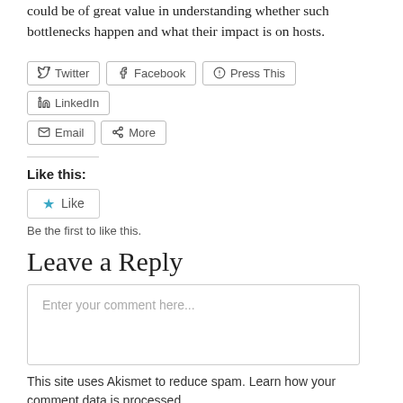could be of great value in understanding whether such bottlenecks happen and what their impact is on hosts.
[Figure (other): Social share buttons: Twitter, Facebook, Press This, LinkedIn, Email, More]
Like this:
[Figure (other): Like button with star icon and text 'Like']
Be the first to like this.
Leave a Reply
[Figure (other): Comment text area with placeholder 'Enter your comment here...']
This site uses Akismet to reduce spam. Learn how your comment data is processed.
Related